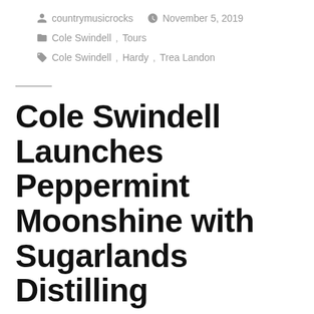countrymusicrocks   November 5, 2019
Cole Swindell , Tours
Cole Swindell , Hardy , Trea Landon
Cole Swindell Launches Peppermint Moonshine with Sugarlands Distilling Company